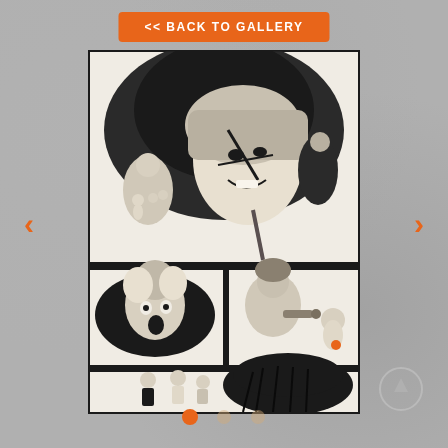<< BACK TO GALLERY
[Figure (illustration): Black and white comic book page showing multiple panels: top panel features a close-up of a long-haired character with face markings holding small dolls, with other characters in background; middle panels show a shocked woman and a man threatening someone; bottom panel shows three characters standing with a dark-haired figure from behind.]
<
>